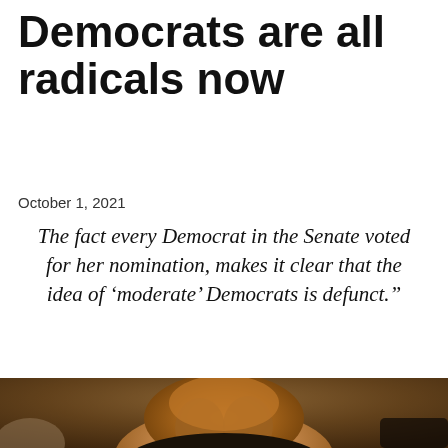Democrats are all radicals now
October 1, 2021
The fact every Democrat in the Senate voted for her nomination, makes it clear that the idea of ‘moderate’ Democrats is defunct.”
[Figure (photo): Woman with curly reddish-brown hair speaking, appears to be at a hearing or formal proceeding, dark background with warm tones, other people partially visible]